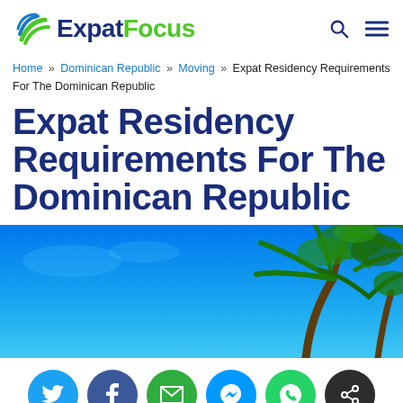ExpatFocus
Home » Dominican Republic » Moving » Expat Residency Requirements For The Dominican Republic
Expat Residency Requirements For The Dominican Republic
[Figure (photo): Tropical beach photo with blue sky and palm trees]
[Figure (infographic): Social sharing buttons: Twitter, Facebook, Email, Messenger, WhatsApp, Share]